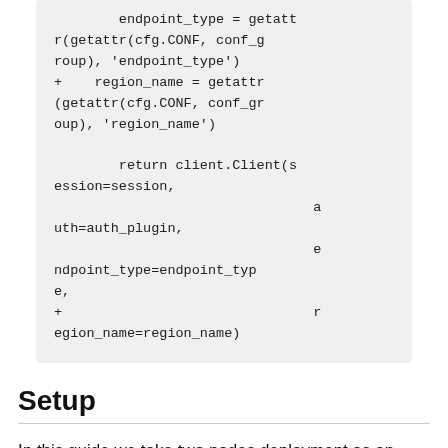[Figure (other): Code block showing Python code snippet with endpoint_type and region_name assignments using getattr, and return client.Client() call with session, auth, endpoint_type, and region_name parameters.]
Setup
In this guide we take two nodes deployment as an example, the node1 run as